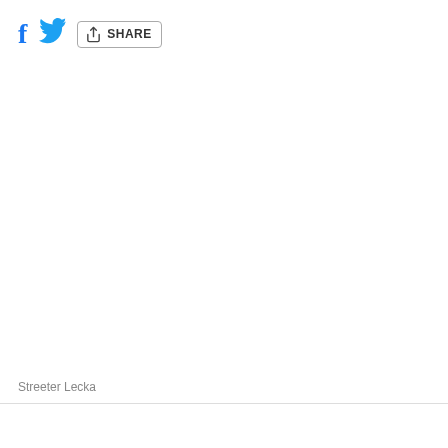[Figure (other): Social media sharing toolbar with Facebook icon, Twitter bird icon, and a Share button with an arrow/box icon and the text SHARE]
Streeter Lecka